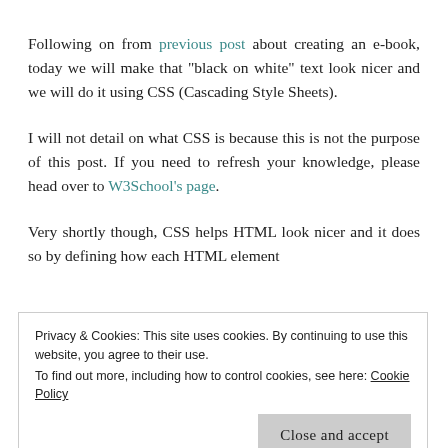Following on from previous post about creating an e-book, today we will make that "black on white" text look nicer and we will do it using CSS (Cascading Style Sheets).
I will not detail on what CSS is because this is not the purpose of this post. If you need to refresh your knowledge, please head over to W3School's page.
Very shortly though, CSS helps HTML look nicer and it does so by defining how each HTML element
Privacy & Cookies: This site uses cookies. By continuing to use this website, you agree to their use. To find out more, including how to control cookies, see here: Cookie Policy
Close and accept
browsers in the same way, which is not the case